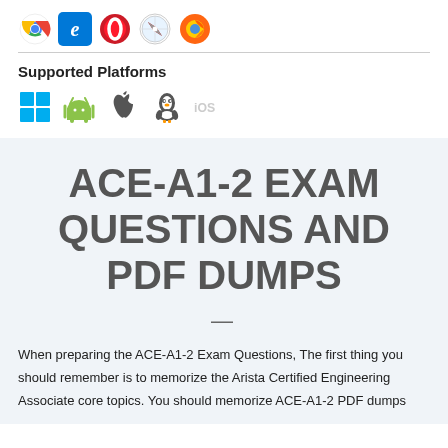[Figure (illustration): Browser icons: Chrome, Edge, Opera, Safari, Firefox]
Supported Platforms
[Figure (illustration): Platform icons: Windows, Android, Apple/macOS, Linux, iOS]
ACE-A1-2 EXAM QUESTIONS AND PDF DUMPS
When preparing the ACE-A1-2 Exam Questions, The first thing you should remember is to memorize the Arista Certified Engineering Associate core topics. You should memorize ACE-A1-2 PDF dumps